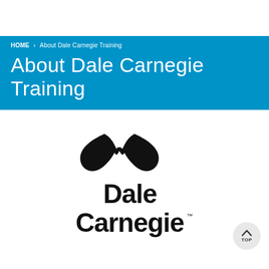HOME > About Dale Carnegie Training
About Dale Carnegie Training
[Figure (logo): Dale Carnegie logo: black butterfly/bow-tie icon above bold black text reading 'Dale Carnegie' with TM mark]